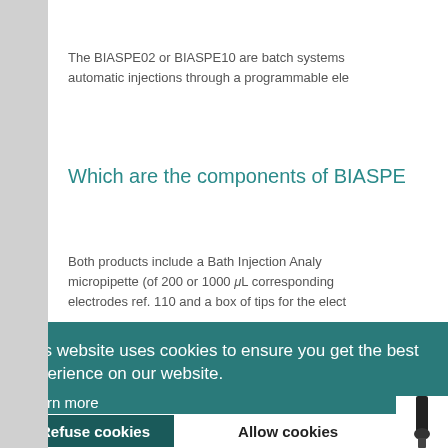The BIASPE02 or BIASPE10 are batch systems automatic injections through a programmable ele
Which are the components of BIASPE
Both products include a Bath Injection Analy micropipette (of 200 or 1000 μL corresponding electrodes ref. 110 and a box of tips for the elect
This website uses cookies to ensure you get the best experience on our website. Learn more
en BIAC
atch Injecti
Refuse cookies
Allow cookies